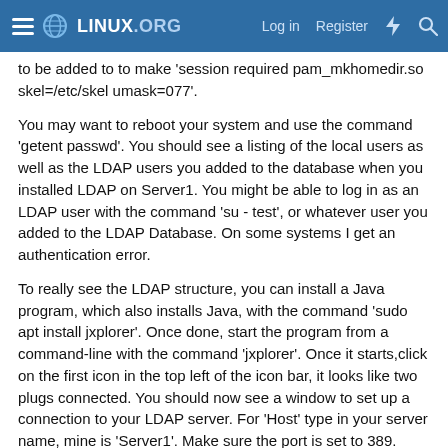Linux.org — Log in Register
to be added to to make 'session required pam_mkhomedir.so skel=/etc/skel umask=077'.
You may want to reboot your system and use the command 'getent passwd'. You should see a listing of the local users as well as the LDAP users you added to the database when you installed LDAP on Server1. You might be able to log in as an LDAP user with the command 'su - test', or whatever user you added to the LDAP Database. On some systems I get an authentication error.
To really see the LDAP structure, you can install a Java program, which also installs Java, with the command 'sudo apt install jxplorer'. Once done, start the program from a command-line with the command 'jxplorer'. Once it starts,click on the first icon in the top left of the icon bar, it looks like two plugs connected. You should now see a window to set up a connection to your LDAP server. For 'Host' type in your server name, mine is 'Server1'. Make sure the port is set to 389. Leave